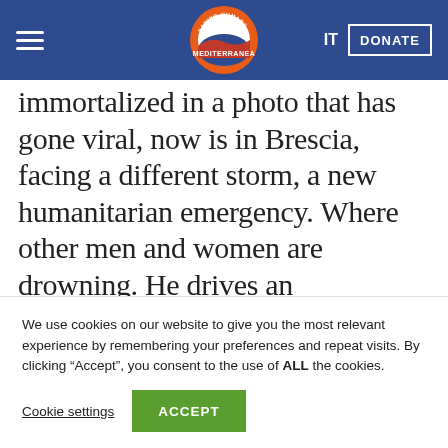Mediterranea - Saving Humans | IT | DONATE
immortalized in a photo that has gone viral, now is in Brescia, facing a different storm, a new humanitarian emergency. Where other men and women are drowning. He drives an ambulance, has a crew of three people: history knows how to be truly lavish with
We use cookies on our website to give you the most relevant experience by remembering your preferences and repeat visits. By clicking “Accept”, you consent to the use of ALL the cookies.
Cookie settings | ACCEPT